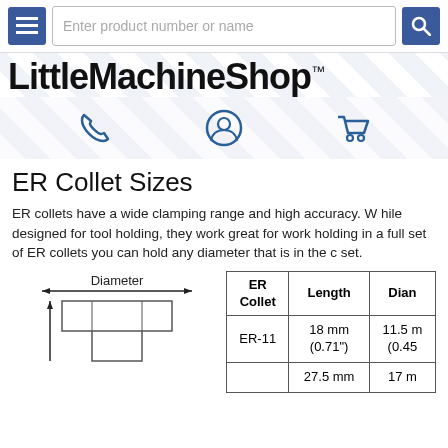LittleMachineShop
ER Collet Sizes
ER collets have a wide clamping range and high accuracy. While designed for tool holding, they work great for work holding in a full set of ER collets you can hold any diameter that is in the c... set.
[Figure (engineering-diagram): Technical cross-section diagram of a collet showing Diameter dimension with arrows, and a vertical arrow indicating length.]
| ER Collet | Length | Diam... |
| --- | --- | --- |
| ER-11 | 18 mm
(0.71") | 11.5 m
(0.45... |
|  | 27.5 mm | 17 m... |